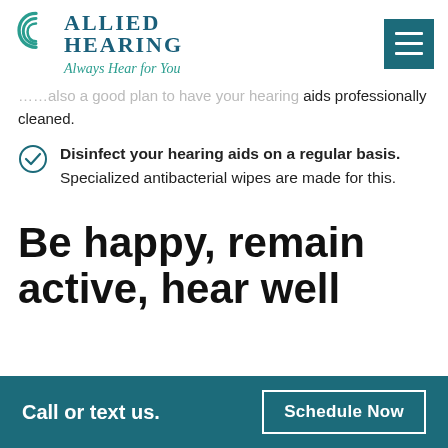[Figure (logo): Allied Hearing logo with circular wave icon and tagline 'Always Hear for You']
…also a good plan to have your hearing aids professionally cleaned.
Disinfect your hearing aids on a regular basis. Specialized antibacterial wipes are made for this.
Be happy, remain active, hear well
Call or text us.  Schedule Now